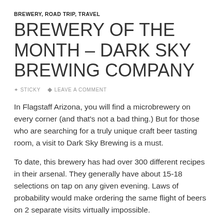BREWERY, ROAD TRIP, TRAVEL
BREWERY OF THE MONTH – DARK SKY BREWING COMPANY
✦ STICKY  ● LEAVE A COMMENT
In Flagstaff Arizona, you will find a microbrewery on every corner (and that's not a bad thing.) But for those who are searching for a truly unique craft beer tasting room, a visit to Dark Sky Brewing is a must.
To date, this brewery has had over 300 different recipes in their arsenal. They generally have about 15-18 selections on tap on any given evening. Laws of probability would make ordering the same flight of beers on 2 separate visits virtually impossible.